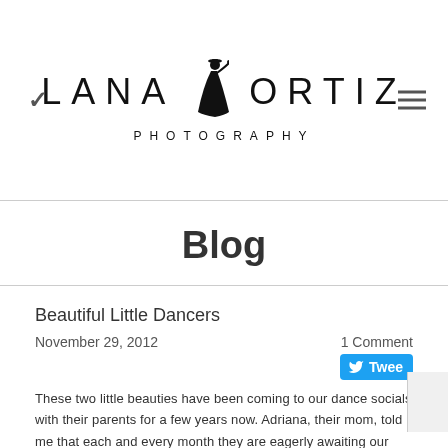LANA ORTIZ PHOTOGRAPHY
Blog
Beautiful Little Dancers
November 29, 2012    1 Comment
These two little beauties have been coming to our dance socials with their parents for a few years now. Adriana, their mom, told me that each and every month they are eagerly awaiting our socials. I, on the other hand, absolutely adore them because of their beauty, their great social skills and their interest in dancing. In November they brought their adorable twin cousins with them, and I couldn't stop myself but approach their family about a photoshoot. Here is where you can visit